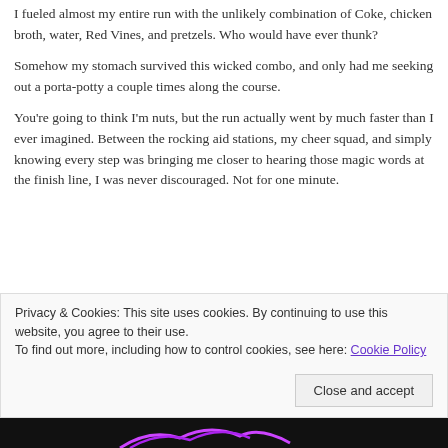I fueled almost my entire run with the unlikely combination of Coke, chicken broth, water, Red Vines, and pretzels. Who would have ever thunk?
Somehow my stomach survived this wicked combo, and only had me seeking out a porta-potty a couple times along the course.
You're going to think I'm nuts, but the run actually went by much faster than I ever imagined. Between the rocking aid stations, my cheer squad, and simply knowing every step was bringing me closer to hearing those magic words at the finish line, I was never discouraged. Not for one minute.
Privacy & Cookies: This site uses cookies. By continuing to use this website, you agree to their use.
To find out more, including how to control cookies, see here: Cookie Policy
Close and accept